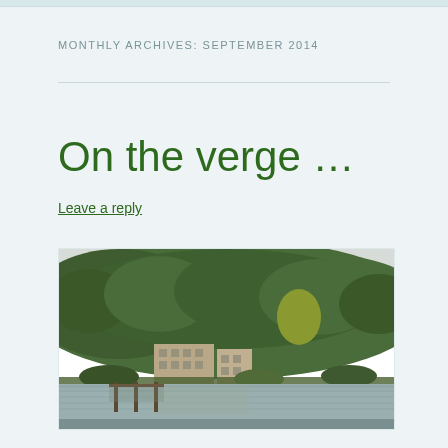MONTHLY ARCHIVES: SEPTEMBER 2014
On the verge …
Leave a reply
[Figure (photo): A landscape photo showing a wooded hillside with dense green trees, a multi-story building partially visible among the trees, a body of water with a dock in the foreground reflecting the scene.]